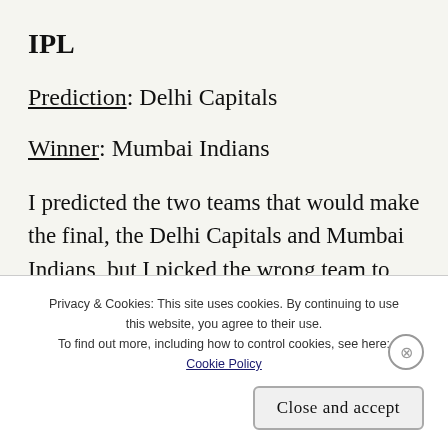IPL
Prediction: Delhi Capitals
Winner: Mumbai Indians
I predicted the two teams that would make the final, the Delhi Capitals and Mumbai Indians, but I picked the wrong team to win overall. The Mumbai Indians led by Rohit Sharma, it the bat and Jasprit Bumrah with the ball and...
Privacy & Cookies: This site uses cookies. By continuing to use this website, you agree to their use.
To find out more, including how to control cookies, see here:
Cookie Policy
Close and accept